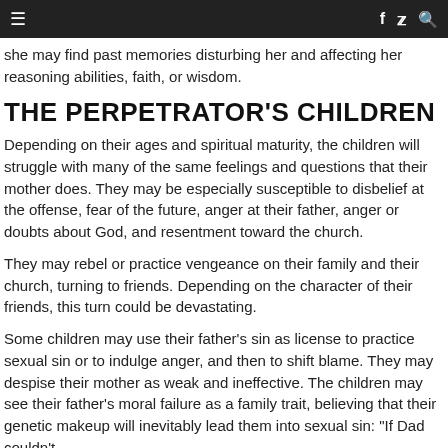≡  f  🐦  🔍
she may find past memories disturbing her and affecting her reasoning abilities, faith, or wisdom.
THE PERPETRATOR'S CHILDREN
Depending on their ages and spiritual maturity, the children will struggle with many of the same feelings and questions that their mother does. They may be especially susceptible to disbelief at the offense, fear of the future, anger at their father, anger or doubts about God, and resentment toward the church.
They may rebel or practice vengeance on their family and their church, turning to friends. Depending on the character of their friends, this turn could be devastating.
Some children may use their father's sin as license to practice sexual sin or to indulge anger, and then to shift blame. They may despise their mother as weak and ineffective. The children may see their father's moral failure as a family trait, believing that their genetic makeup will inevitably lead them into sexual sin: "If Dad couldn't